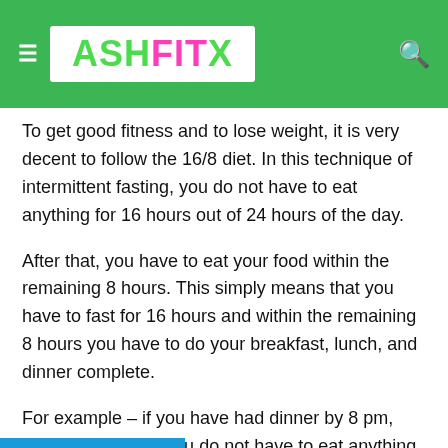ASHFITX
To get good fitness and to lose weight, it is very decent to follow the 16/8 diet. In this technique of intermittent fasting, you do not have to eat anything for 16 hours out of 24 hours of the day.
After that, you have to eat your food within the remaining 8 hours. This simply means that you have to fast for 16 hours and within the remaining 8 hours you have to do your breakfast, lunch, and dinner complete.
For example – if you have had dinner by 8 pm, then the next day you do not have to eat anything till 12 noon.
After 12 noon you can have your breakfast and lunch. In 16 hours of this fasting, you can drink as much water as you...